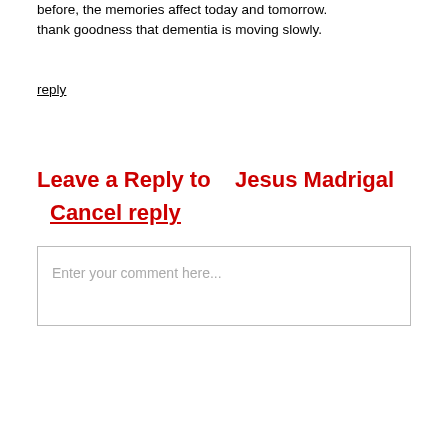before, the memories affect today and tomorrow. thank goodness that dementia is moving slowly.
reply
Leave a Reply to   Jesus Madrigal Cancel reply
Enter your comment here...